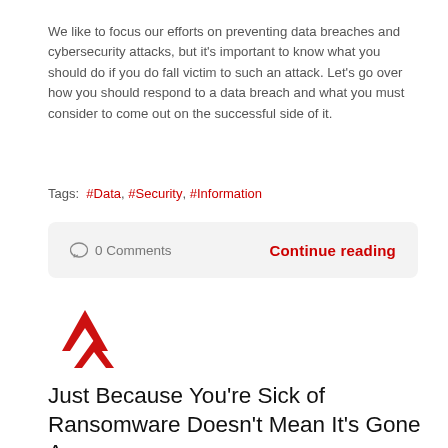We like to focus our efforts on preventing data breaches and cybersecurity attacks, but it's important to know what you should do if you do fall victim to such an attack. Let's go over how you should respond to a data breach and what you must consider to come out on the successful side of it.
Tags:   #Data,  #Security,  #Information
○ 0 Comments     Continue reading
[Figure (logo): Red triangular Accucom logo mark with two stacked triangles]
Just Because You're Sick of Ransomware Doesn't Mean It's Gone Away
Monday, May 09, 2022
Graham Lowbridge
Accucom Blog,  Security